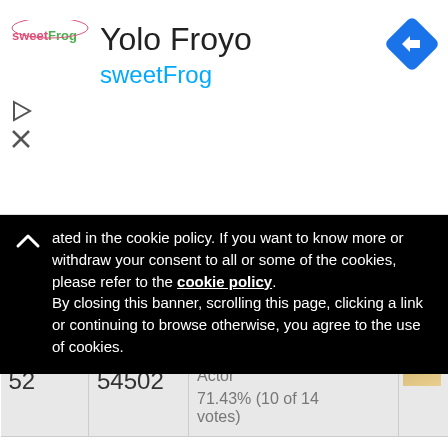[Figure (screenshot): Ad banner for Yolo Froyo sweetFrog with logo and navigation icon]
ated in the cookie policy. If you want to know more or withdraw your consent to all or some of the cookies, please refer to the cookie policy. By closing this banner, scrolling this page, clicking a link or continuing to browse otherwise, you agree to the use of cookies.
|  |  |  |  |
| --- | --- | --- | --- |
| 244 | 54501 | Edward Woods
Actor
0% (0 of 3 votes) |  |
| 52 | 54502 | David Lago
Actor
71.43% (10 of 14 votes) |  |